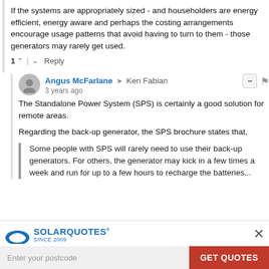If the systems are appropriately sized - and householders are energy efficient, energy aware and perhaps the costing arrangements encourage usage patterns that avoid having to turn to them - those generators may rarely get used.
1 ↑ | ↓ Reply
Angus McFarlane → Ken Fabian
3 years ago
The Standalone Power System (SPS) is certainly a good solution for remote areas.
Regarding the back-up generator, the SPS brochure states that,
Some people with SPS will rarely need to use their back-up generators. For others, the generator may kick in a few times a week and run for up to a few hours to recharge the batteries...
[Figure (logo): SolarQuotes logo with arc shape, text SOLARQUOTES SINCE 2009]
Enter your postcode
GET QUOTES